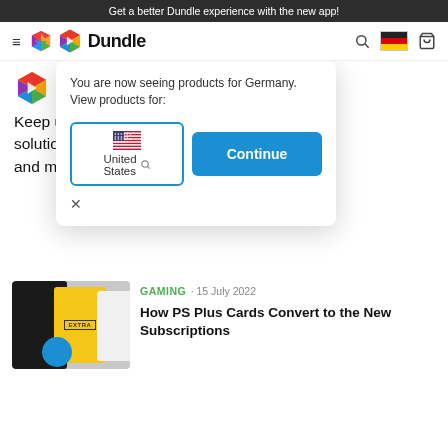Get a better Dundle experience with the new app!
[Figure (screenshot): Dundle website navigation bar with hamburger menu, colorful hexagon logo, Dundle wordmark, search icon, German flag, and shopping cart icon]
[Figure (screenshot): Dundle hexagon logo and large D letter, partially obscured by popup modal]
Keep up with ... aid solutions, ga... rity and more – yo... digital
[Figure (screenshot): Country selector popup showing 'You are now seeing products for Germany. View products for:' with United States option selected and Continue button]
You are now seeing products for Germany. View products for:
United States
Continue
GAMING · 15 July 2022
How PS Plus Cards Convert to the New Subscriptions
[Figure (photo): PS Plus subscription cards — black card with logo, yellow/gold card labeled EXTRA, and white card partially visible, with blue circular element]